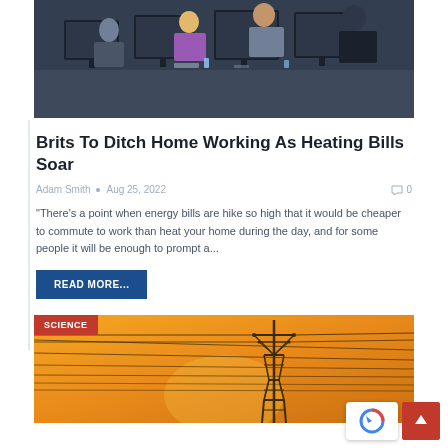[Figure (photo): Office scene with multiple people working at computers with monitors]
Brits To Ditch Home Working As Heating Bills Soar
Adam Smith • Aug 25, 2022   0
"There's a point when energy bills are hike so high that it would be cheaper to commute to work than heat your home during the day, and for some people it will be enough to prompt a...
READ MORE...
[Figure (photo): Electric power transmission pylon/tower against an orange sunset sky with power lines. SCIENCE badge overlay in top left.]